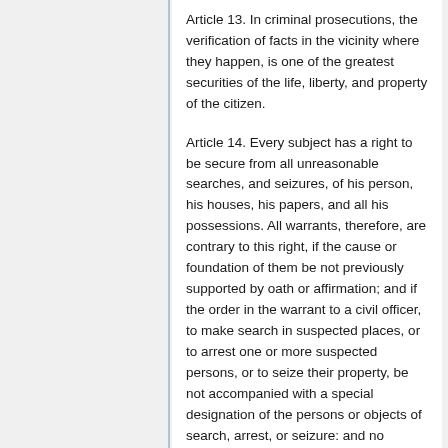Article 13. In criminal prosecutions, the verification of facts in the vicinity where they happen, is one of the greatest securities of the life, liberty, and property of the citizen.
Article 14. Every subject has a right to be secure from all unreasonable searches, and seizures, of his person, his houses, his papers, and all his possessions. All warrants, therefore, are contrary to this right, if the cause or foundation of them be not previously supported by oath or affirmation; and if the order in the warrant to a civil officer, to make search in suspected places, or to arrest one or more suspected persons, or to seize their property, be not accompanied with a special designation of the persons or objects of search, arrest, or seizure: and no warrant ought to be issued but in